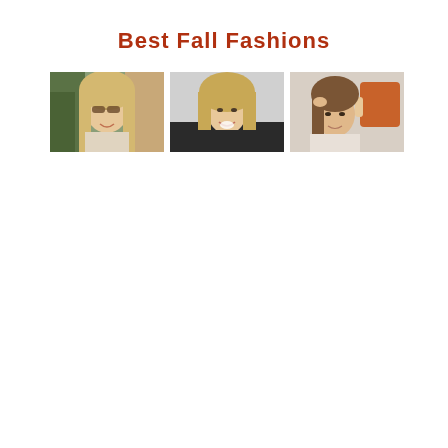Best Fall Fashions
[Figure (photo): Three fashion photos of blonde women in fall styles arranged in a row]
[Figure (photo): Woman with long blonde hair smiling outdoors with greenery background]
[Figure (photo): Woman with long blonde hair in dark top, smiling]
[Figure (photo): Woman with brown hair holding an orange accessory, neutral background]